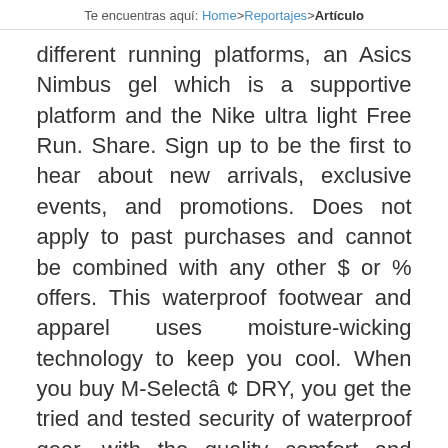Te encuentras aquí: Home > Reportajes > Artículo
different running platforms, an Asics Nimbus gel which is a supportive platform and the Nike ultra light Free Run. Share. Sign up to be the first to hear about new arrivals, exclusive events, and promotions. Does not apply to past purchases and cannot be combined with any other $ or % offers. This waterproof footwear and apparel uses moisture-wicking technology to keep you cool. When you buy M-Selectâ ¢ DRY, you get the tried and tested security of waterproof gear, with the quality comfort and high-performance design that customers have come to expect from Merrell products. All 3 tests took some seriously uphill 600 ft elevation climb approx. Save 20% when you Bundle. Pre-Owned. SAVE